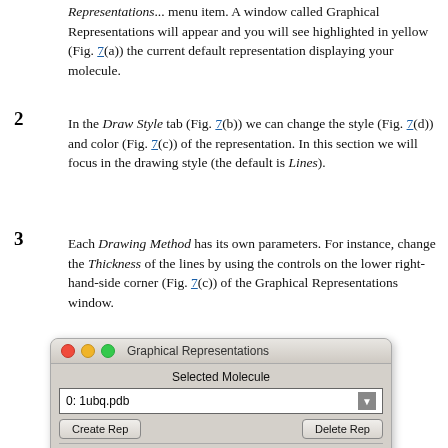Representations... menu item. A window called Graphical Representations will appear and you will see highlighted in yellow (Fig. 7(a)) the current default representation displaying your molecule.
2
In the Draw Style tab (Fig. 7(b)) we can change the style (Fig. 7(d)) and color (Fig. 7(c)) of the representation. In this section we will focus in the drawing style (the default is Lines).
3
Each Drawing Method has its own parameters. For instance, change the Thickness of the lines by using the controls on the lower right-hand-side corner (Fig. 7(c)) of the Graphical Representations window.
[Figure (screenshot): A macOS window titled 'Graphical Representations' showing a dropdown for Selected Molecule set to '0: 1ubq.pdb', buttons for 'Create Rep' and 'Delete Rep', and column headers Style, Color, Selection.]